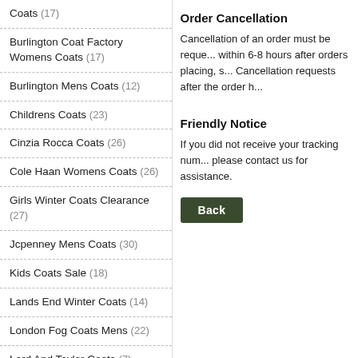Coats (17)
Burlington Coat Factory Womens Coats (17)
Burlington Mens Coats (12)
Childrens Coats (23)
Cinzia Rocca Coats (26)
Cole Haan Womens Coats (26)
Girls Winter Coats Clearance (27)
Jcpenney Mens Coats (30)
Kids Coats Sale (18)
Lands End Winter Coats (14)
London Fog Coats Mens (22)
Lord And Taylor Coats (7)
Macys Girls Coats (30)
Macys Trench Coats (29)
Madewell Coats (24)
Order Cancellation
Cancellation of an order must be requested within 6-8 hours after orders placing, s... Cancellation requests after the order h...
Friendly Notice
If you did not receive your tracking number, please contact us for assistance.